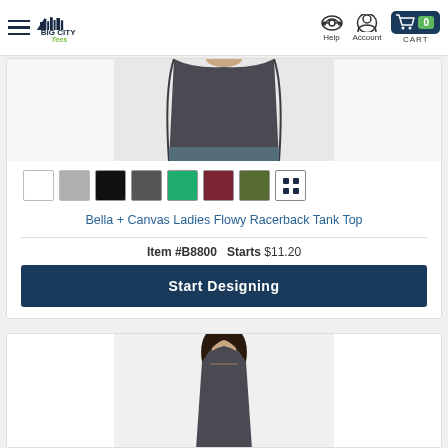Big City Tees — Help | Account | CART 0
[Figure (photo): Cropped photo of woman wearing dark grey flowy racerback tank top from above waist]
[Figure (other): Color swatches: white, light grey, black, dark grey, green, dark red/maroon, olive green, and a grid icon for more colors]
Bella + Canvas Ladies Flowy Racerback Tank Top
Item #B8800   Starts $11.20
Start Designing
[Figure (photo): Photo of woman wearing dark grey tank top, visible from shoulders to mid-torso]